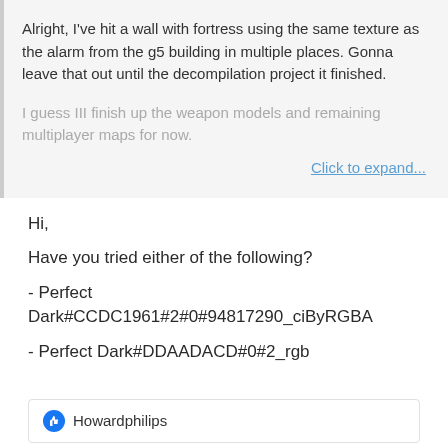Alright, I've hit a wall with fortress using the same texture as the alarm from the g5 building in multiple places. Gonna leave that out until the decompilation project it finished.
I guess III finish up the weapon models and remaining multiplayer maps for now.
Click to expand...
Hi,
Have you tried either of the following?
- Perfect Dark#CCDC1961#2#0#94817290_ciByRGBA
- Perfect Dark#DDAADACD#0#2_rgb
Howardphilips
Xii-Nyth
Member